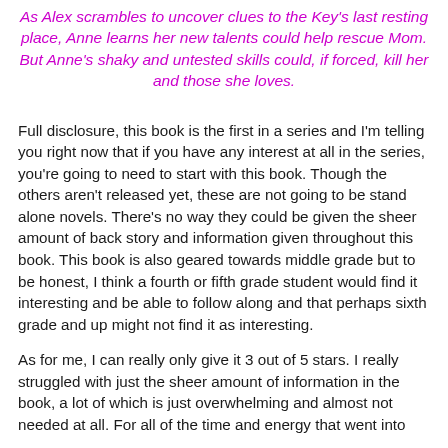As Alex scrambles to uncover clues to the Key's last resting place, Anne learns her new talents could help rescue Mom. But Anne's shaky and untested skills could, if forced, kill her and those she loves.
Full disclosure, this book is the first in a series and I'm telling you right now that if you have any interest at all in the series, you're going to need to start with this book. Though the others aren't released yet, these are not going to be stand alone novels. There's no way they could be given the sheer amount of back story and information given throughout this book. This book is also geared towards middle grade but to be honest, I think a fourth or fifth grade student would find it interesting and be able to follow along and that perhaps sixth grade and up might not find it as interesting.
As for me, I can really only give it 3 out of 5 stars. I really struggled with just the sheer amount of information in the book, a lot of which is just overwhelming and almost not needed at all. For all of the time and energy that went into